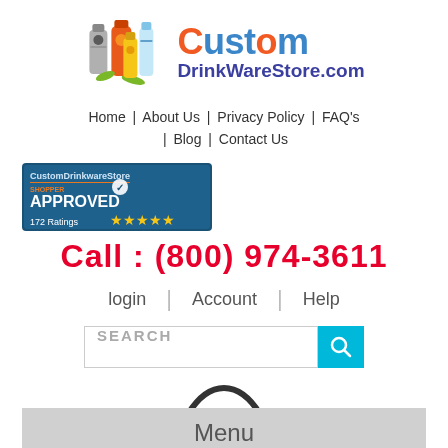[Figure (logo): CustomDrinkwareStore.com logo with colorful drink bottles illustration and multicolor text]
Home | About Us | Privacy Policy | FAQ's | Blog | Contact Us
[Figure (illustration): Shopper Approved badge with 172 Ratings and 5 stars]
Call : (800) 974-3611
login | Account | Help
[Figure (screenshot): Search bar with SEARCH placeholder and cyan search button]
[Figure (illustration): Green shopping basket with 0 Item badge]
Menu
Home » Brand » Tekweld » Rainbow Collapsible Water Bottle